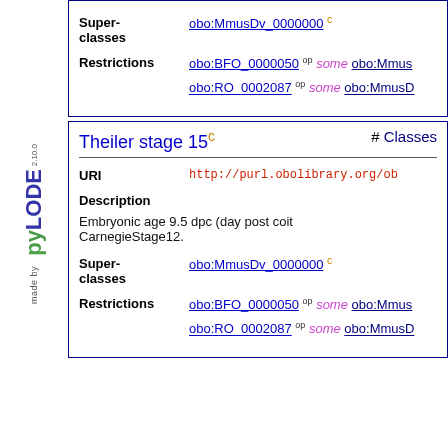pyLODE 2.10.0 made by
Super-classes: obo:MmusDv_0000000 c
Restrictions: obo:BFO_0000050 op some obo:Mmus... obo:RO_0002087 op some obo:MmusD...
Theiler stage 15 c  # Classes
URI: http://purl.obolibrary.org/ob...
Description: Embryonic age 9.5 dpc (day post coit... CarnegieStage12.
Super-classes: obo:MmusDv_0000000 c
Restrictions: obo:BFO_0000050 op some obo:Mmus... obo:RO_0002087 op some obo:MmusD...